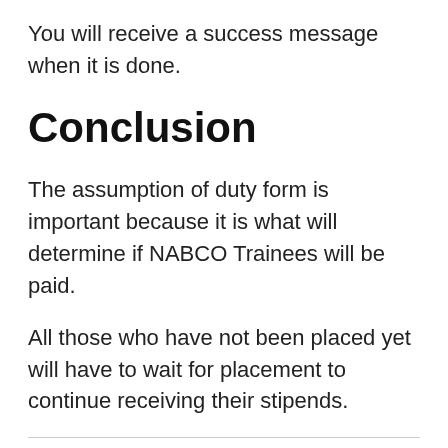You will receive a success message when it is done.
Conclusion
The assumption of duty form is important because it is what will determine if NABCO Trainees will be paid.
All those who have not been placed yet will have to wait for placement to continue receiving their stipends.
Thank you for reading on Asetena.com Share